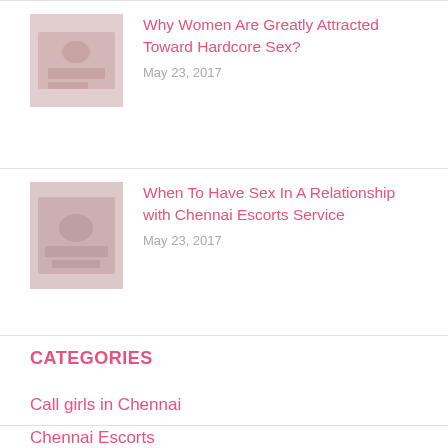[Figure (photo): Small thumbnail image for blog post about hardcore sex]
Why Women Are Greatly Attracted Toward Hardcore Sex?
May 23, 2017
[Figure (photo): Small thumbnail image for blog post about sex in relationship with Chennai escorts]
When To Have Sex In A Relationship with Chennai Escorts Service
May 23, 2017
CATEGORIES
Call girls in Chennai
Chennai Escorts
Chennai Escorts Services
Chennai Independent Escorts